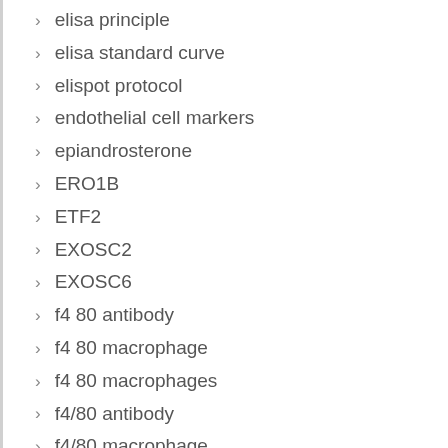elisa principle
elisa standard curve
elispot protocol
endothelial cell markers
epiandrosterone
ERO1B
ETF2
EXOSC2
EXOSC6
f4 80 antibody
f4 80 macrophage
f4 80 macrophages
f4/80 antibody
f4/80 macrophage
f4/80 marker